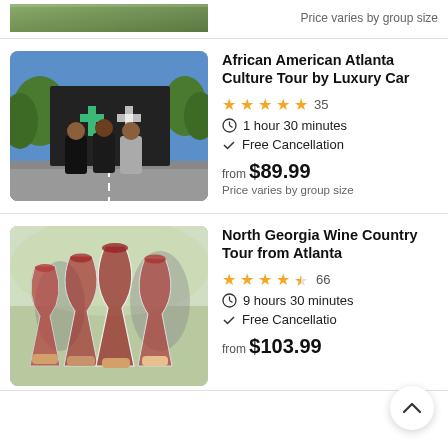Price varies by group size
[Figure (photo): Three people standing in front of a modern building with a large plus sign, sunny day with trees]
African American Atlanta Culture Tour by Luxury Car
★★★★★ 35
1 hour 30 minutes
Free Cancellation
from $89.99
Price varies by group size
[Figure (photo): People clinking wine glasses at a wine tasting event outdoors]
North Georgia Wine Country Tour from Atlanta
★★★★½ 66
9 hours 30 minutes
Free Cancellation
from $103.99